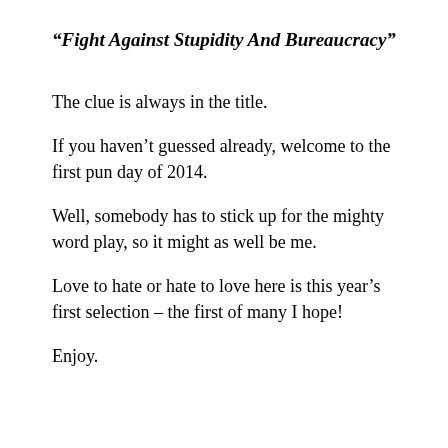“Fight Against Stupidity And Bureaucracy”
The clue is always in the title.
If you haven’t guessed already, welcome to the first pun day of 2014.
Well, somebody has to stick up for the mighty word play, so it might as well be me.
Love to hate or hate to love here is this year’s first selection – the first of many I hope!
Enjoy.